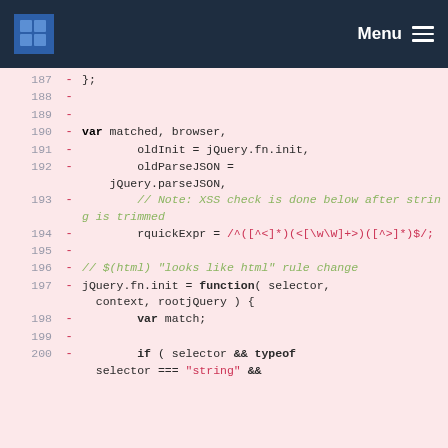Menu
[Figure (screenshot): Code diff view showing JavaScript lines 187-200 with removed lines (pink background, minus signs). Lines include var declarations, jQuery.fn.init function, regex literal rquickExpr, comments, and if statement.]